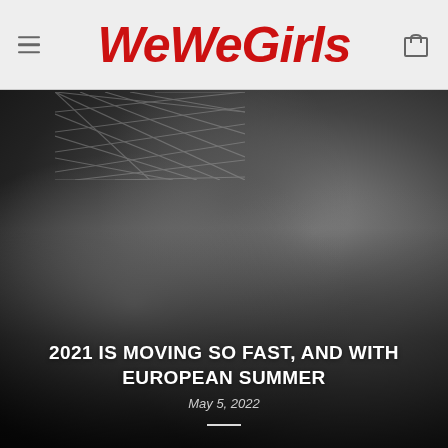WeWeGirls
[Figure (photo): Black and white photograph of a woman in bikini/lingerie, cropped to torso area, with a net/mesh fabric visible at top. Dark moody lighting.]
2021 IS MOVING SO FAST, AND WITH EUROPEAN SUMMER
May 5, 2022